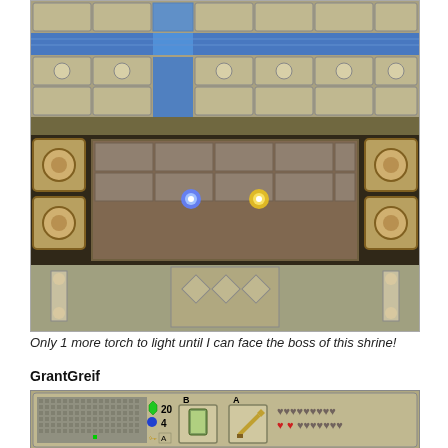[Figure (screenshot): Top-down view of a dungeon/shrine in a Zelda-style video game. Shows stone tile floors with blue water channels, decorative brown borders with circular icons, and two lit torches (blue and yellow/gold) in the center room area. The layout shows multiple rooms and corridors.]
Only 1 more torch to light until I can face the boss of this shrine!
GrantGreif
[Figure (screenshot): Bottom portion shows a video game HUD/status bar at top with inventory (20 rupees, 4 bombs, key), B and A item slots showing a bottle/item and sword, and heart containers showing about 2 full hearts out of many. Below is a top-down overworld scene with green grass, a waterfall, trees/bushes on the left, and small enemy sprites (flowers, rocks) scattered around.]